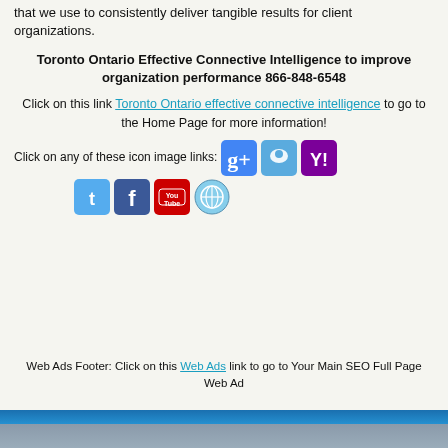that we use to consistently deliver tangible results for client organizations.
Toronto Ontario Effective Connective Intelligence to improve organization performance 866-848-6548
Click on this link Toronto Ontario effective connective intelligence to go to the Home Page for more information!
[Figure (infographic): Row of social media icon buttons: Google+, Badoo, Yahoo!, Twitter, Facebook, YouTube, WordPress]
Web Ads Footer: Click on this Web Ads link to go to Your Main SEO Full Page Web Ad
[Figure (other): Blue horizontal bar followed by gray horizontal bar at bottom of page]